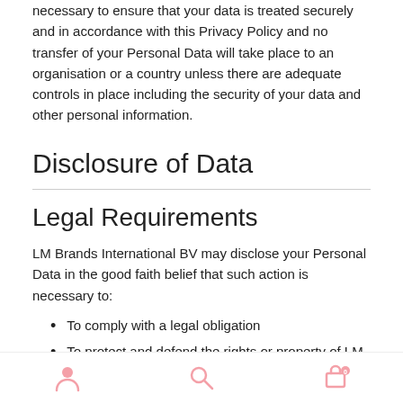necessary to ensure that your data is treated securely and in accordance with this Privacy Policy and no transfer of your Personal Data will take place to an organisation or a country unless there are adequate controls in place including the security of your data and other personal information.
Disclosure of Data
Legal Requirements
LM Brands International BV may disclose your Personal Data in the good faith belief that such action is necessary to:
To comply with a legal obligation
To protect and defend the rights or property of LM Brands International BV
To prevent or investigate possible wrongdoing in